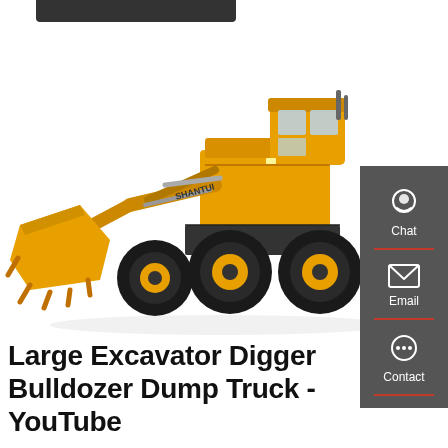[Figure (photo): A large yellow Shantui wheel loader / front loader construction machine facing left, with a large bucket attachment, set against a white background. The machine has large black tires with yellow rims.]
Large Excavator Digger Bulldozer Dump Truck - YouTube